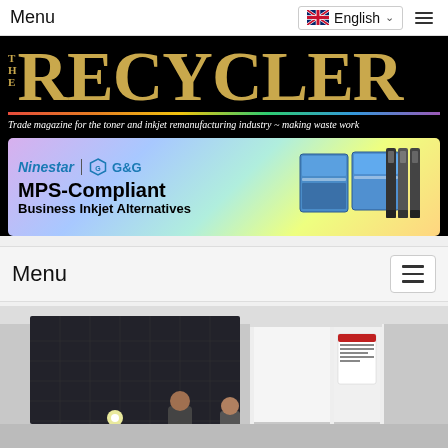Menu   English
[Figure (logo): The Recycler magazine logo on black background with rainbow bar and tagline: Trade magazine for the toner and inkjet remanufacturing industry ~ making waste work]
[Figure (infographic): Ninestar | G&G advertisement banner: MPS-Compliant Business Inkjet Alternatives, with product images of ink cartridge boxes]
Menu
[Figure (photo): Exhibition hall or trade show floor with dark acoustic panel wall on left and white booth partitions, people visible in background]